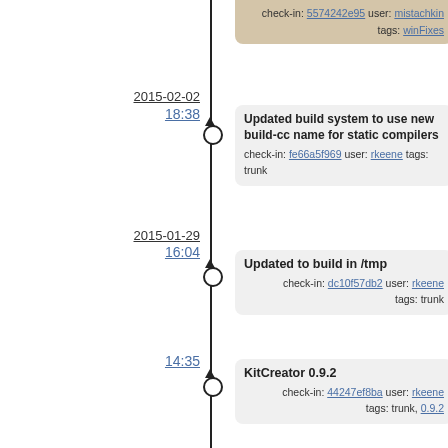[Figure (other): Software version control timeline with commit entries. Shows commits from 2015-01-29 and 2015-02-02 with check-in hashes, users, and tags on a vertical timeline.]
check-in: 5574242e95 user: mistachkin tags: winFixes
2015-02-02
18:38
Updated build system to use new build-cc name for static compilers check-in: fe66a5f969 user: rkeene tags: trunk
2015-01-29
16:04
Updated to build in /tmp check-in: dc10f57db2 user: rkeene tags: trunk
14:35
KitCreator 0.9.2 check-in: 44247ef8ba user: rkeene tags: trunk, 0.9.2
14:33
Updated to name nightly tests "fossil_trunk" instead of "cvs_HEAD" check-in: 75f558f8fa user: rkeene tags: trunk
14:30
Updated to set default Tcl version to latest check-in: 028aff64c2 user: rkeene tags: trunk